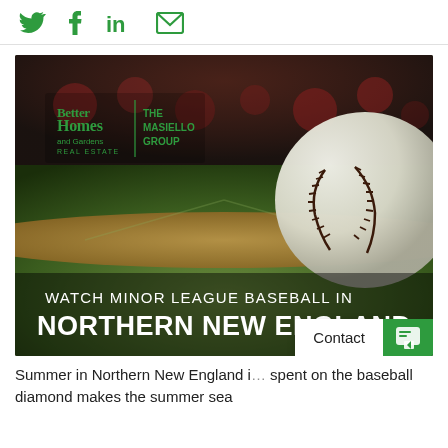Twitter | Facebook | LinkedIn | Email
[Figure (photo): Promotional image with a baseball on a diamond field background, showing the Better Homes and Gardens Real Estate - The Masiello Group logo, with text 'WATCH MINOR LEAGUE BASEBALL IN NORTHERN NEW ENGLAND']
Summer in Northern New England i... spent on the baseball diamond makes the summer sea